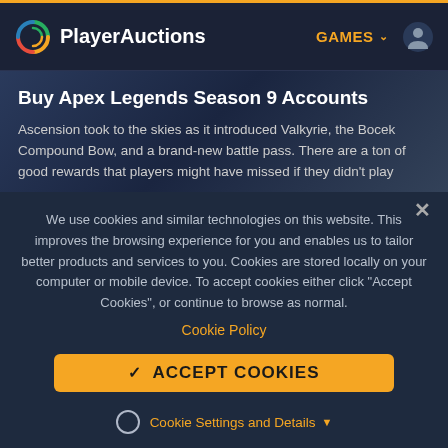PlayerAuctions — GAMES
Buy Apex Legends Season 9 Accounts
Ascension took to the skies as it introduced Valkyrie, the Bocek Compound Bow, and a brand-new battle pass. There are a ton of good rewards that players might have missed if they didn't play
We use cookies and similar technologies on this website. This improves the browsing experience for you and enables us to tailor better products and services to you. Cookies are stored locally on your computer or mobile device. To accept cookies either click "Accept Cookies", or continue to browse as normal.
Cookie Policy
ACCEPT COOKIES
Cookie Settings and Details